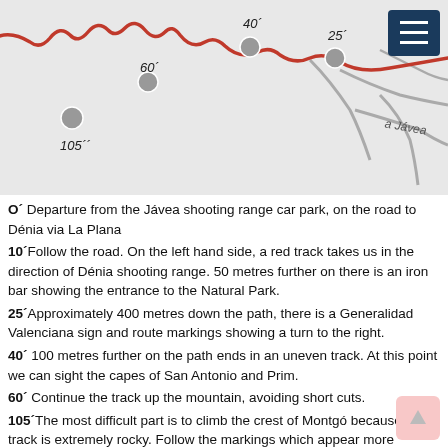[Figure (map): Route map showing a hiking trail with a red line path, grey dots at waypoints labeled 40', 25', 60', 105'', and a label 'a Jávea' on the right side. A dark blue menu button in the top right corner.]
O´ Departure from the Jávea shooting range car park, on the road to Dénia via La Plana
10´Follow the road. On the left hand side, a red track takes us in the direction of Dénia shooting range. 50 metres further on there is an iron bar showing the entrance to the Natural Park.
25´Approximately 400 metres down the path, there is a Generalidad Valenciana sign and route markings showing a turn to the right.
40´ 100 metres further on the path ends in an uneven track. At this point we can sight the capes of San Antonio and Prim.
60´ Continue the track up the mountain, avoiding short cuts.
105´The most difficult part is to climb the crest of Montgó because the track is extremely rocky. Follow the markings which appear more frequently.
120´ Once at the summit, 753 metres above sea level, we can contemplate a panoramic view, on clear days to Ibiza. Return by the same path.
TIME: 4 HOURS approx.
DISTANCE: 4,8 KM approx.
DIFFICULTY: MEDIUM